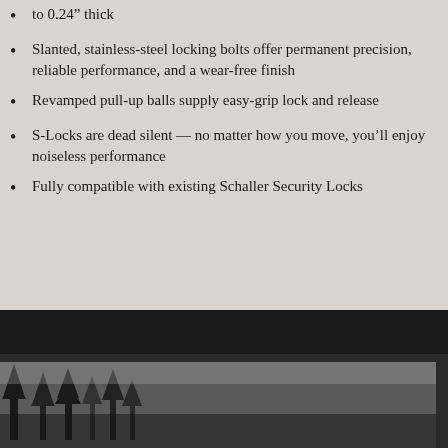to 0.24” thick
Slanted, stainless-steel locking bolts offer permanent precision, reliable performance, and a wear-free finish
Revamped pull-up balls supply easy-grip lock and release
S-Locks are dead silent — no matter how you move, you’ll enjoy noiseless performance
Fully compatible with existing Schaller Security Locks
[Figure (photo): Outdoor photo showing trees/nature scene, partially visible at the bottom of the page, with a black bar above it]